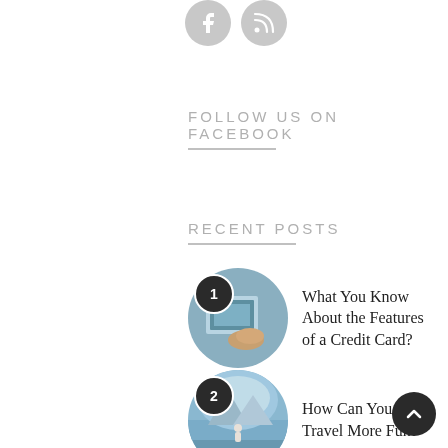[Figure (illustration): Two circular social media icons (Facebook and RSS feed) in light grey]
FOLLOW US ON FACEBOOK
RECENT POSTS
1 What You Know About the Features of a Credit Card?
2 How Can You Make Travel More Fun?